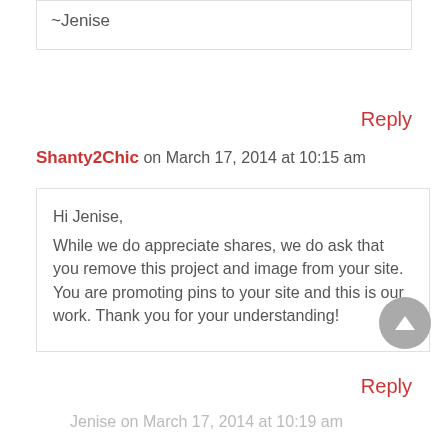~Jenise
Reply
Shanty2Chic on March 17, 2014 at 10:15 am
Hi Jenise,
While we do appreciate shares, we do ask that you remove this project and image from your site. You are promoting pins to your site and this is our work. Thank you for your understanding!
Reply
Jenise on March 17, 2014 at 10:19 am